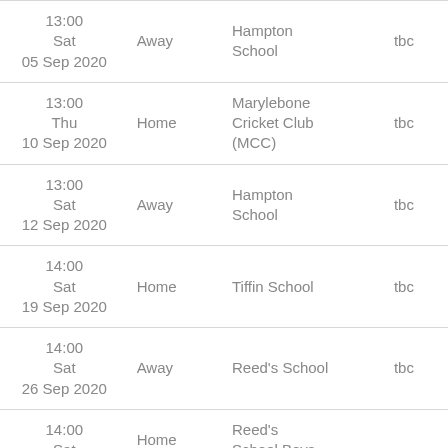| Date/Time | Venue | Opponent | Result |
| --- | --- | --- | --- |
| 13:00
Sat
05 Sep 2020 | Away | Hampton School | tbc |
| 13:00
Thu
10 Sep 2020 | Home | Marylebone Cricket Club (MCC) | tbc |
| 13:00
Sat
12 Sep 2020 | Away | Hampton School | tbc |
| 14:00
Sat
19 Sep 2020 | Home | Tiffin School | tbc |
| 14:00
Sat
26 Sep 2020 | Away | Reed's School | tbc |
| 14:00
Sat | Home | Reed's School Boys- |  |